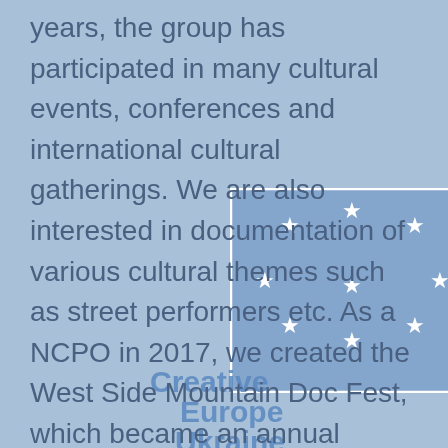years, the group has participated in many cultural events, conferences and international cultural gatherings. We are also interested in documentation of various cultural themes such as street performers etc. As a NCPO in 2017, we created the West Side Mountain Doc Fest, which became an annual festival and quickly it was established as an internationally renowned cultural event, away from the big urban
[Figure (other): EU flag (circle of white stars on blue background) as a watermark/overlay box in the middle of the text, with 'Creative Europe Ukraine' text watermark below it]